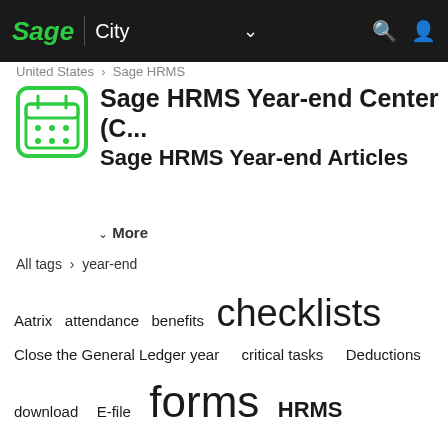Sage City — navigation bar
United States > Sage HRMS
Sage HRMS Year-end Center (C... Sage HRMS Year-end Articles
✓ More
All tags > year-end
Aatrix   attendance   benefits   checklists   Close the General Ledger year   critical tasks   Deductions   download   E-file   forms   HRMS   human resources   next year   payroll   prepare   Product Update   Reports   sage hrms   tax forms   Tax Update   taxes   update   update earnings   update taxes